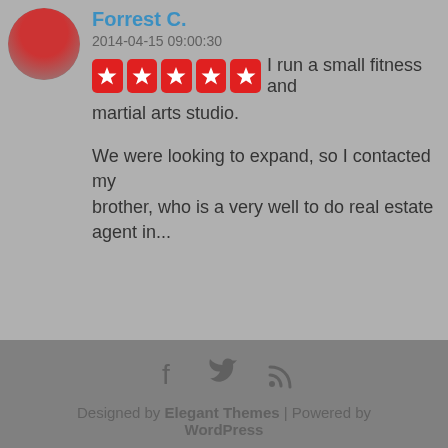[Figure (photo): Circular avatar photo of a person in a red shirt outdoors]
Forrest C.
2014-04-15 09:00:30
[Figure (infographic): Five red star rating badges]
I run a small fitness and martial arts studio.

We were looking to expand, so I contacted my brother, who is a very well to do real estate agent in...
Designed by Elegant Themes | Powered by WordPress